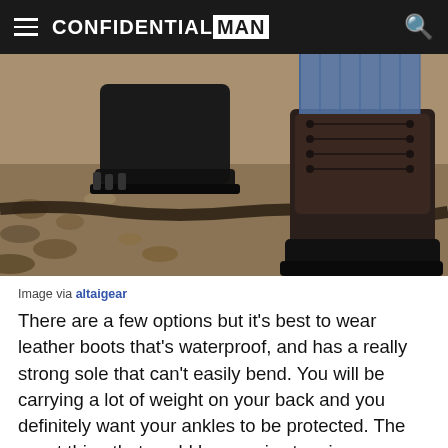CONFIDENTIAL MAN
[Figure (photo): Close-up photo of hiking boots walking on rocky/gravelly terrain outdoors. One boot is in mid-air and the other is planted on the ground showing rugged sole and laces.]
Image via altaigear
There are a few options but it’s best to wear leather boots that's waterproof, and has a really strong sole that can't easily bend.  You will be carrying a lot of weight on your back and you definitely want your ankles to be protected.  The worst thing that could happen is stepping on a